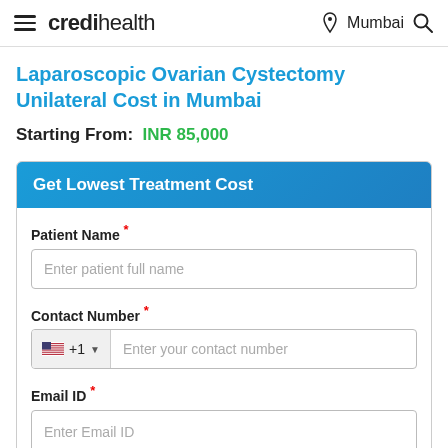credihealth — Mumbai
Laparoscopic Ovarian Cystectomy Unilateral Cost in Mumbai
Starting From: INR 85,000
Get Lowest Treatment Cost
Patient Name *
Enter patient full name
Contact Number *
+1  Enter your contact number
Email ID *
Enter Email ID
Submit